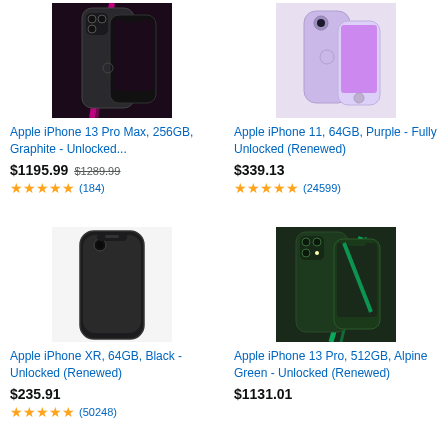[Figure (photo): Apple iPhone 13 Pro Max in Graphite color, showing front and back views against dark purple/pink background]
Apple iPhone 13 Pro Max, 256GB, Graphite - Unlocked...
$1195.99 $1289.99 ★★★★½ (184)
[Figure (photo): Apple iPhone 11 in Purple color, showing front and back views against purple background]
Apple iPhone 11, 64GB, Purple - Fully Unlocked (Renewed)
$339.13 ★★★★½ (24599)
[Figure (photo): Apple iPhone XR in Black color, showing back view]
Apple iPhone XR, 64GB, Black - Unlocked (Renewed)
$235.91 ★★★★½ (50248)
[Figure (photo): Apple iPhone 13 Pro in Alpine Green color, showing front and back views]
Apple iPhone 13 Pro, 512GB, Alpine Green - Unlocked (Renewed)
$1131.01